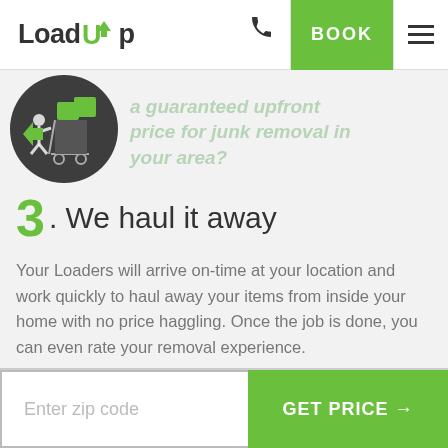LoadUp | BOOK
[Figure (logo): LoadUp logo with green upward arrow above the letter U]
a guaranteed upfront price for junk removal in your area?
[Figure (illustration): Dark circular icon showing a person hauling boxes on a hand truck with a green arrow]
3. We haul it away
Your Loaders will arrive on-time at your location and work quickly to haul away your items from inside your home with no price haggling. Once the job is done, you can even rate your removal experience.
Enter zip code
GET PRICE →